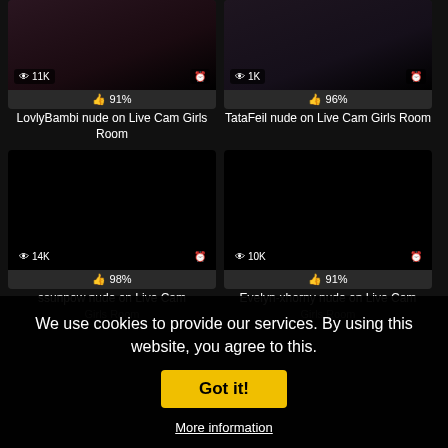[Figure (screenshot): LovlyBambi live cam thumbnail with 11K views and 91% rating]
LovlyBambi nude on Live Cam Girls Room
[Figure (screenshot): TataFeil live cam thumbnail with 1K views and 96% rating]
TataFeil nude on Live Cam Girls Room
[Figure (screenshot): ssunpow live cam thumbnail with 14K views and 98% rating, black screen]
ssunpow nude on Live Cam Girls Room
[Figure (screenshot): Evelyn-xhorny live cam thumbnail with 10K views and 91% rating, black screen]
Evelyn-xhorny nude on Live Cam Girls Room
We use cookies to provide our services. By using this website, you agree to this.
Got it!
More information